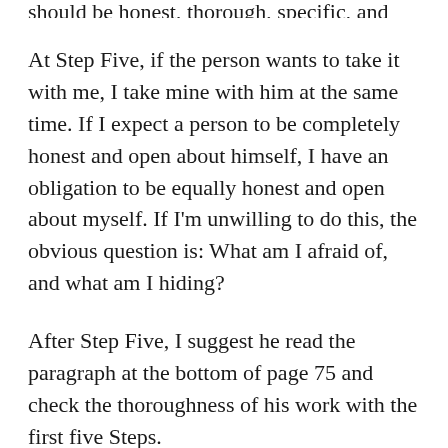should be honest, thorough, specific, and written.
At Step Five, if the person wants to take it with me, I take mine with him at the same time. If I expect a person to be completely honest and open about himself, I have an obligation to be equally honest and open about myself. If I'm unwilling to do this, the obvious question is: What am I afraid of, and what am I hiding?
After Step Five, I suggest he read the paragraph at the bottom of page 75 and check the thoroughness of his work with the first five Steps.